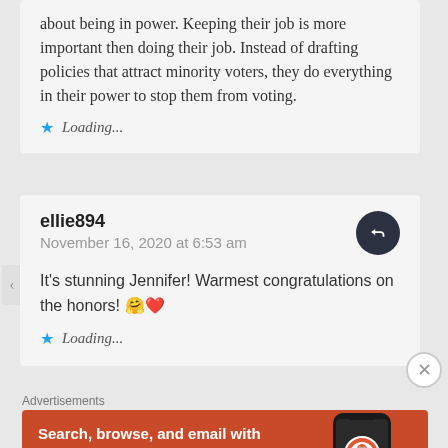about being in power. Keeping their job is more important then doing their job. Instead of drafting policies that attract minority voters, they do everything in their power to stop them from voting.
Loading...
ellie894
November 16, 2020 at 6:53 am
It's stunning Jennifer! Warmest congratulations on the honors! 🤗❤️
Loading...
Advertisements
[Figure (screenshot): DuckDuckGo advertisement banner: orange/red background with text 'Search, browse, and email with more privacy. All in One Free App' and a phone mockup showing the DuckDuckGo app logo and name.]